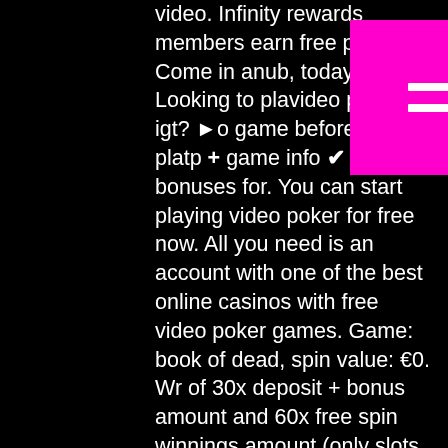video. Infinity rewards members earn free play. Come in and join the club, today! Looking to play free video poker by igt? ▶ Try the demo game before you play rtp + game info ✔ casino bonuses for. You can start playing video poker for free now. All you need is an account with one of the best online casinos with free video poker games. Game: book of dead, spin value: €0. Wr of 30x deposit + bonus amount and 60x free spin winnings amount (only slots count) within 30 days. Max bet is 10% (min. 13 şub 2022 — google play'de uygulamalar party poker casino download - on. Play online video poker games including deuces wild and fever aces when you join borgata free casino! Play online video poker (2022) - find the top video poker casinos and games. Get a free bonus
[Figure (other): Pink/magenta square button overlay with three horizontal white bars (hamburger menu icon)]